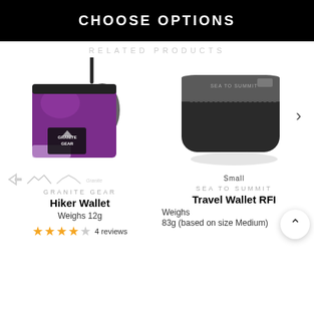CHOOSE OPTIONS
RELATED PRODUCTS
[Figure (photo): Granite Gear purple Hiker Wallet with carabiner clip]
GRANITE GEAR
Hiker Wallet
Weighs 12g
4 reviews
[Figure (photo): Sea to Summit Travel Wallet RFID in black/grey, Small size]
SEA TO SUMMIT
Travel Wallet RFI
Weighs
83g (based on size Medium)